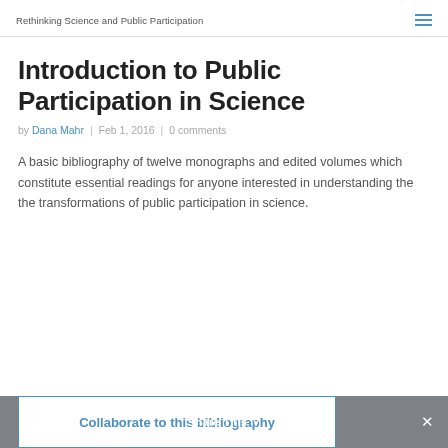Rethinking Science and Public Participation
Introduction to Public Participation in Science
by Dana Mahr | Feb 1, 2016 | 0 comments
A basic bibliography of twelve monographs and edited volumes which constitute essential readings for anyone interested in understanding the the transformations of public participation in science.
Collaborate to this bibliography
Share This